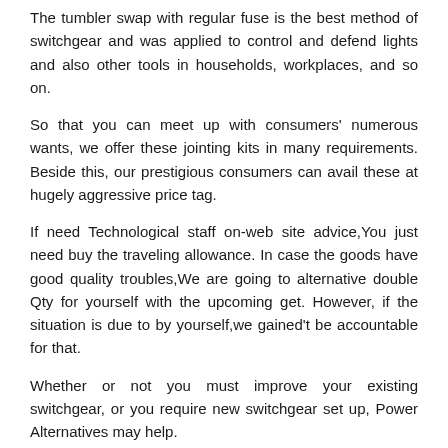The tumbler swap with regular fuse is the best method of switchgear and was applied to control and defend lights and also other tools in households, workplaces, and so on.
So that you can meet up with consumers' numerous wants, we offer these jointing kits in many requirements. Beside this, our prestigious consumers can avail these at hugely aggressive price tag.
If need Technological staff on-web site advice,You just need buy the traveling allowance. In case the goods have good quality troubles,We are going to alternative double Qty for yourself with the upcoming get. However, if the situation is due to by yourself,we gained't be accountable for that.
Whether or not you must improve your existing switchgear, or you require new switchgear set up, Power Alternatives may help.
OHS UpGons oredVW IF
Joints for cables with plastic insulation with neutral conductor of reduced cross section, up to 1kV